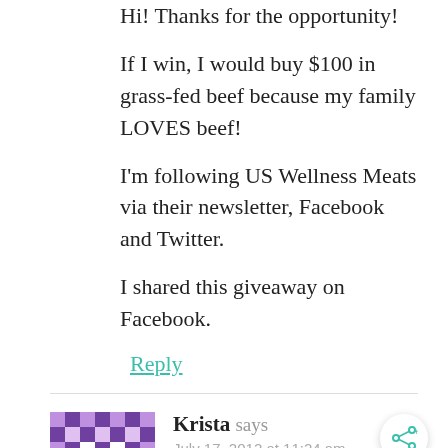Hi! Thanks for the opportunity!
If I win, I would buy $100 in grass-fed beef because my family LOVES beef!
I'm following US Wellness Meats via their newsletter, Facebook and Twitter.
I shared this giveaway on Facebook.
Reply
Krista says
July 17, 2012 at 11:24 am
I'd use the gift certificate to purchase